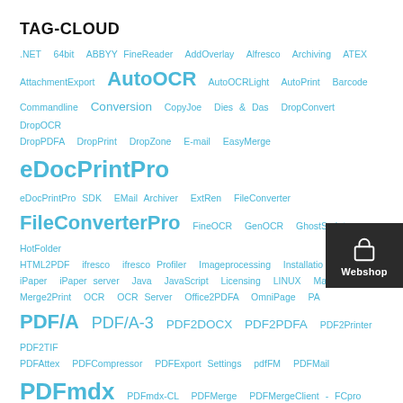TAG-CLOUD
.NET 64bit ABBYY FineReader AddOverlay Alfresco Archiving ATEX AttachmentExport AutoOCR AutoOCRLight AutoPrint Barcode Commandline Conversion CopyJoe Dies & Das DropConvert DropOCR DropPDFA DropPrint DropZone E-mail EasyMerge eDocPrintPro eDocPrintPro SDK EMail Archiver ExtRen FileConverter FileConverterPro FineOCR GenOCR GhostScript HotFolder HTML2PDF ifresco ifresco Profiler Imageprocessing Installation iPaper iPaper server Java JavaScript Licensing LINUX Mac Merge2Print OCR OCR Server Office2PDFA OmniPage PAM PDF/A PDF/A-3 PDF2DOCX PDF2PDFA PDF2Printer PDF2TIFF PDFAttex PDFCompressor PDFExport Settings pdfFM PDFMail PDFmdx PDFmdx-CL PDFMerge PDFMergeClient - FCpro PDFPrint PDFScanEdit PDFSecurity PDFSign PDFSplit PDFTools PDF to PDFA Plugin REST Scan Scripting SetDestination Setup Signature Software-Development SplitBarcode SplitRen This & That Update Web-Service ZUGFeRD
[Figure (other): Webshop button overlay with shopping bag icon]
LINKS